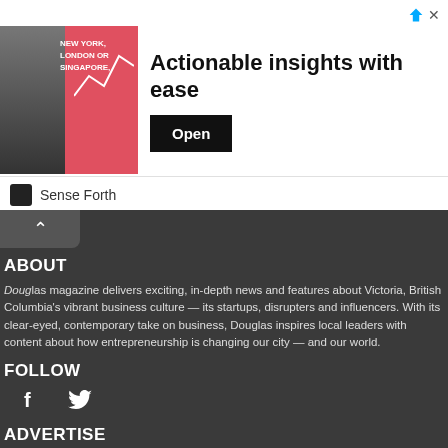[Figure (screenshot): Advertisement banner with image of a man reading, text 'NEW YORK, LONDON OR SINGAPORE,' and headline 'Actionable insights with ease' with an Open button. Sourced from Sense Forth.]
ABOUT
Douglas magazine delivers exciting, in-depth news and features about Victoria, British Columbia's vibrant business culture — its startups, disrupters and influencers. With its clear-eyed, contemporary take on business, Douglas inspires local leaders with content about how entrepreneurship is changing our city — and our world.
FOLLOW
[Figure (illustration): Facebook and Twitter social media icons (f and bird)]
ADVERTISE
Get your company in front of thousands of business owners, entrepreneurs, and up and comers every month, both online and in print. We have excellent readership throughout Vancouver Island, and across Canada.